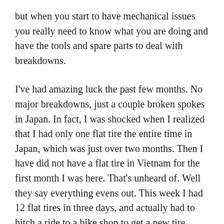but when you start to have mechanical issues you really need to know what you are doing and have the tools and spare parts to deal with breakdowns.
I've had amazing luck the past few months. No major breakdowns, just a couple broken spokes in Japan. In fact, I was shocked when I realized that I had only one flat tire the entire time in Japan, which was just over two months. Then I have did not have a flat tire in Vietnam for the first month I was here. That's unheard of. Well they say everything evens out. This week I had 12 flat tires in three days, and actually had to hitch a ride to a bike shop to get a new tire.
I had bought a new heavy duty tire in Japan and it has worked flawlessly for two months. But one day I got a flat tire. I checked the tire to make sure there was no piece of